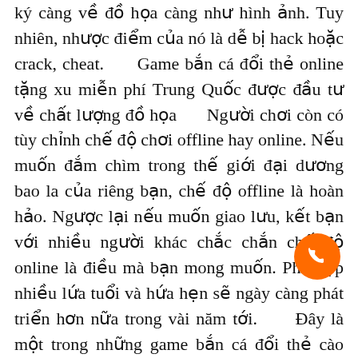ký càng về đồ họa càng như hình ảnh. Tuy nhiên, nhược điểm của nó là dễ bị hack hoặc crack, cheat.      Game bắn cá đổi thẻ online tặng xu miễn phí Trung Quốc được đầu tư về chất lượng đồ họa      Người chơi còn có tùy chỉnh chế độ chơi offline hay online. Nếu muốn đắm chìm trong thế giới đại dương bao la của riêng bạn, chế độ offline là hoàn hảo. Ngược lại nếu muốn giao lưu, kết bạn với nhiều người khác chắc chắn chế độ online là điều mà bạn mong muốn. Phù hợp nhiều lứa tuổi và hứa hẹn sẽ ngày càng phát triển hơn nữa trong vài năm tới.      Đây là một trong những game bắn cá đổi thẻ cào tặng xu miễn phí vui nhộn, mới lạ nhất thị trường hiện nay cho người mong mu những giây phút giải trí mà không đòi hỏi sự suy tận, tư duy. Chỉ cần nhấp vào màn hình để bật tung lưới, số vàng được tính theo các điểm lưới được bắn ra. Thư giãn với CuaMobi mà không cần suy luận quá
[Figure (other): Orange circular phone/call button icon in the bottom right area of the page]